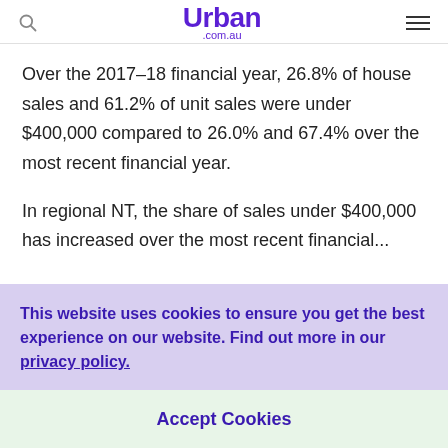Urban .com.au
Over the 2017-18 financial year, 26.8% of house sales and 61.2% of unit sales were under $400,000 compared to 26.0% and 67.4% over the most recent financial year.
In regional NT, the share of sales under $400,000 has increased over the most recent financial...
This website uses cookies to ensure you get the best experience on our website. Find out more in our privacy policy.
Accept Cookies